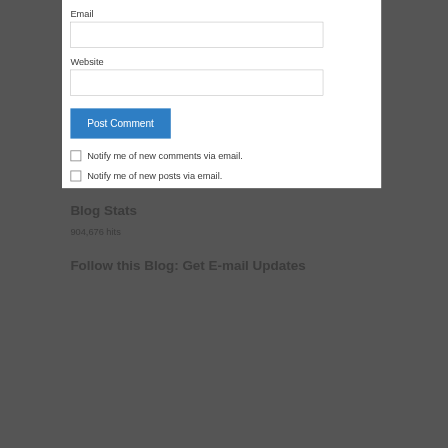Email
Website
Post Comment
Notify me of new comments via email.
Notify me of new posts via email.
Blog Stats
904,676 hits
Follow this Blog: Get E-mail Updates